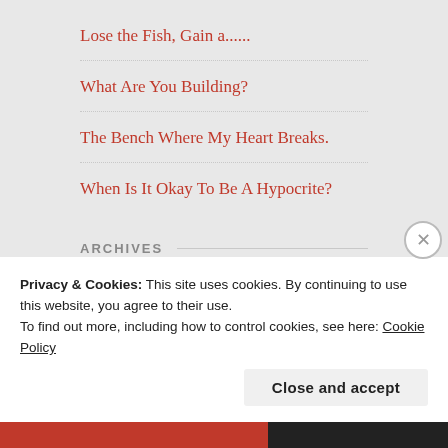Lose the Fish, Gain a......
What Are You Building?
The Bench Where My Heart Breaks.
When Is It Okay To Be A Hypocrite?
ARCHIVES
November 2018
Privacy & Cookies: This site uses cookies. By continuing to use this website, you agree to their use.
To find out more, including how to control cookies, see here: Cookie Policy
Close and accept